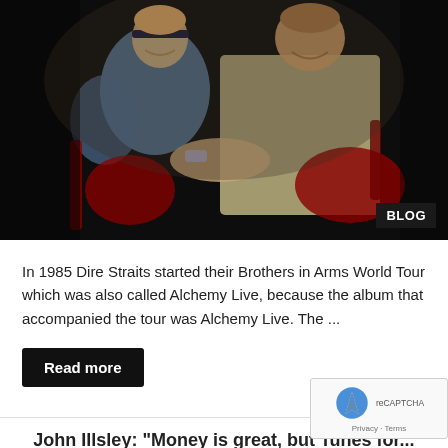[Figure (photo): Two musicians shaking hands on stage, one in a blue sleeveless shirt with a headband, the other in a light yellow shirt, both holding guitars. Concert performance photo, dark background. BLOG badge in bottom-right corner.]
In 1985 Dire Straits started their Brothers in Arms World Tour which was also called Alchemy Live, because the album that accompanied the tour was Alchemy Live. The ...
Read more
John Illsley: "Money is great, but Tunes for...